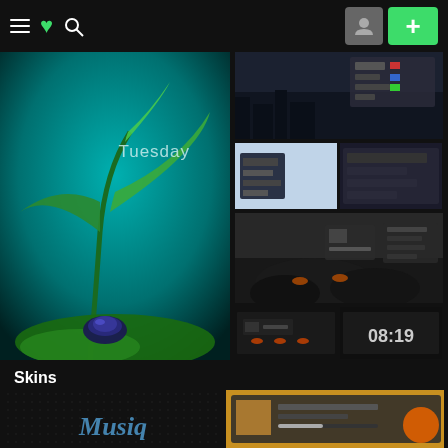DeviantArt navigation bar with hamburger menu, DA logo, search icon, avatar, and + button
[Figure (screenshot): Large image of green plant/seedling with beetle on moss, text 'Tuesday' overlaid, teal/dark background]
[Figure (screenshot): Wide thumbnail showing desktop customization skin with dark rainy city background and UI panels]
[Figure (screenshot): Small thumbnail showing light blue desktop with customization widgets]
[Figure (screenshot): Small thumbnail showing dark desktop customization settings panel]
[Figure (screenshot): Large thumbnail showing dark monochrome landscape desktop skin with candles and dark rocks]
[Figure (screenshot): Small thumbnail showing music player desktop skin with orange flames]
[Figure (screenshot): Small thumbnail showing clock skin displaying 08:19 on dark background]
Skins
[Figure (screenshot): Dark skin thumbnail with 'Musiq' text in blue italic style on dark dotted background]
[Figure (screenshot): Music player skin thumbnail with golden/orange background showing player interface]